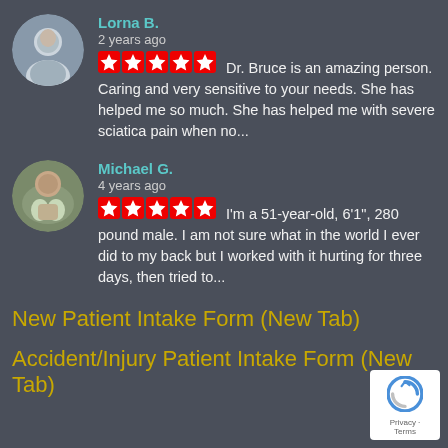[Figure (photo): Avatar of Lorna B., a person with short hair]
Lorna B.
2 years ago
★★★★★ Dr. Bruce is an amazing person. Caring and very sensitive to your needs. She has helped me so much. She has helped me with severe sciatica pain when no...
[Figure (photo): Avatar of Michael G., a man with children]
Michael G.
4 years ago
★★★★★ I'm a 51-year-old, 6'1", 280 pound male. I am not sure what in the world I ever did to my back but I worked with it hurting for three days, then tried to...
New Patient Intake Form (New Tab)
Accident/Injury Patient Intake Form (New Tab)
[Figure (logo): Google reCAPTCHA badge with Privacy and Terms links]